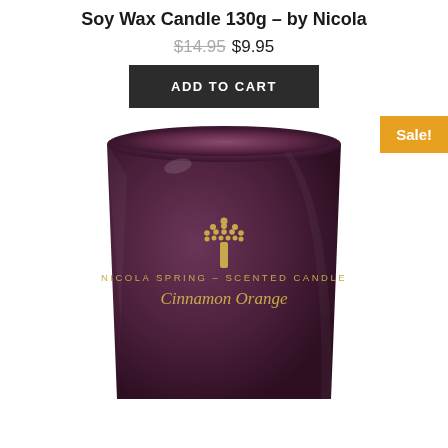Soy Wax Candle 130g – by Nicola
$14.95 $9.95
ADD TO CART
Sale!
[Figure (photo): A dark plum/purple glass candle jar with a gold tree logo, the text 'NICOLA SPRING - SCENTED CANDLE' and cursive 'Cinnamon Orange' printed in gold on the front.]